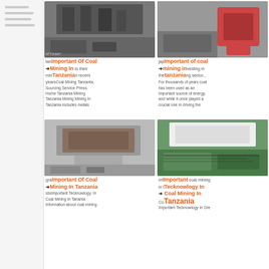[Figure (photo): Industrial mining facility interior, dark machinery]
[Figure (photo): Orange/red mining equipment in a warehouse setting]
Important Of Coal Mining In Tanzania → Home Coal Mining Tanzania, Sourcing Service Press Home Tanzania Mining Tanzania Mining Mining in Tanzania includes metals
Important of coal mining in tanzania → investing in the mining sector... For thousands of years coal has been used as an important source of energy, and while it once played a crucial role in driving the
[Figure (photo): Close-up of mining equipment, metallic surfaces]
[Figure (photo): Green-background mining equipment detail]
Important Of Coal Mining In Tanzania → Important Tecknowlogy In Coal Mining In Tanzania Important Tecknowlogy. In Coal Mining In Tanania Information about coal mining
Important Tecknowlogy In Coal Mining In Tanzania → Important coal mining in t... Cocknowlogy in Coal Mining In Tanzania. Important Tecknowlogy In Ore